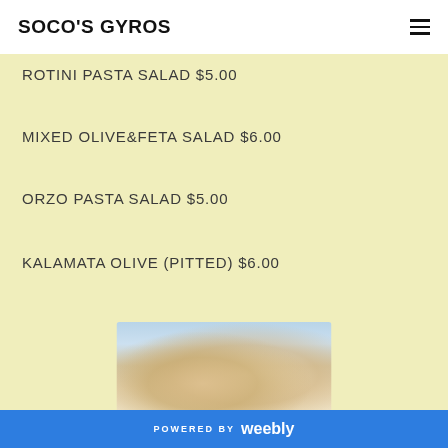SOCO'S GYROS
ROTINI PASTA SALAD $5.00
MIXED OLIVE&FETA SALAD $6.00
ORZO PASTA SALAD $5.00
KALAMATA OLIVE (PITTED) $6.00
[Figure (photo): Photo of a gyro or Greek food dish, partially visible at bottom of page]
POWERED BY weebly